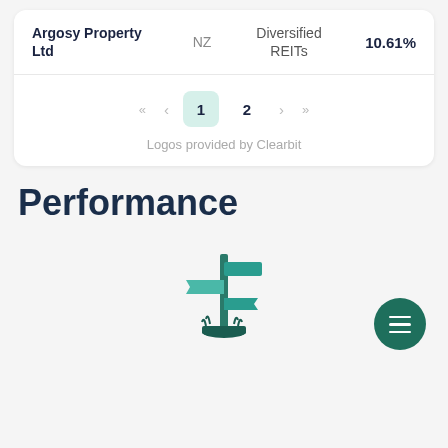| Company | Country | Category | Weight |
| --- | --- | --- | --- |
| Argosy Property Ltd | NZ | Diversified REITs | 10.61% |
Logos provided by Clearbit
Performance
[Figure (illustration): A directional signpost illustration with green post and multiple arrow signs, grass at base. Dark teal color scheme.]